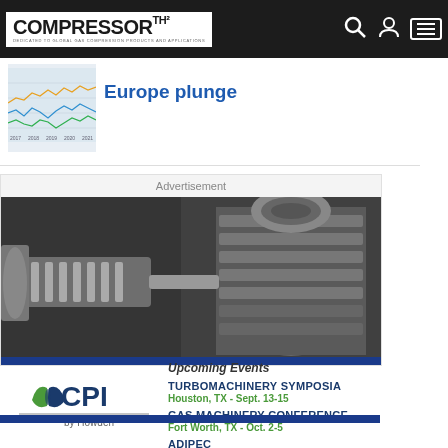COMPRESSOR TECH² — Dedicated to Global Gas Compression Products and Applications
Europe plunge
[Figure (screenshot): Navigation bar with Compressor Tech² logo, search icon, user account icon, and hamburger menu icon on dark background]
[Figure (continuous-plot): Small line chart thumbnail showing multiple colored lines with fluctuating values over time, used as article thumbnail]
[Figure (photo): Advertisement image showing industrial gas compressor machinery components in detailed close-up, grayscale metallic tones with blue stripe at bottom]
Advertisement
Upcoming Events
[Figure (logo): CPI by Howden logo - green and dark blue leaf/fan symbol with CPI text in dark blue and 'by Howden' in gray below a horizontal line]
TURBOMACHINERY SYMPOSIA — Houston, TX - Sept. 13-15
GAS MACHINERY CONFERENCE — Fort Worth, TX - Oct. 2-5
ADIPEC — Abu Dhabi - Oct. 31- Nov. 3